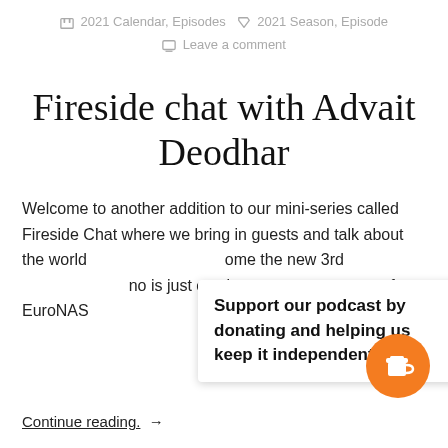2021 Calendar, Episodes   2021 Season, Episode   Leave a comment
Fireside chat with Advait Deodhar
Welcome to another addition to our mini-series called Fireside Chat where we bring in guests and talk about the world [... tooltip overlay obscures text ...] ome the new 3rd [... tooltip overlay ...] no is just coming o[... tooltip overlay ...] on of EuroNAS[... tooltip overlay ...]
Support our podcast by donating and helping us keep it independent.
Continue reading. →